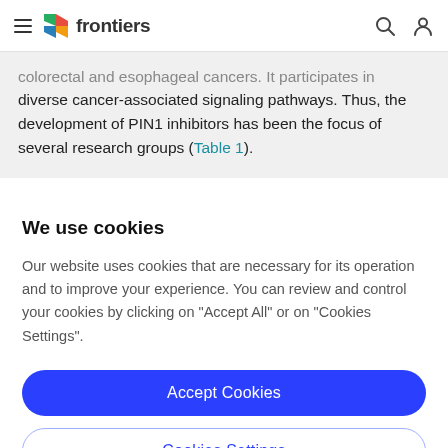frontiers
colorectal and esophageal cancers. It participates in diverse cancer-associated signaling pathways. Thus, the development of PIN1 inhibitors has been the focus of several research groups (Table 1).
We use cookies
Our website uses cookies that are necessary for its operation and to improve your experience. You can review and control your cookies by clicking on "Accept All" or on "Cookies Settings".
Accept Cookies
Cookies Settings